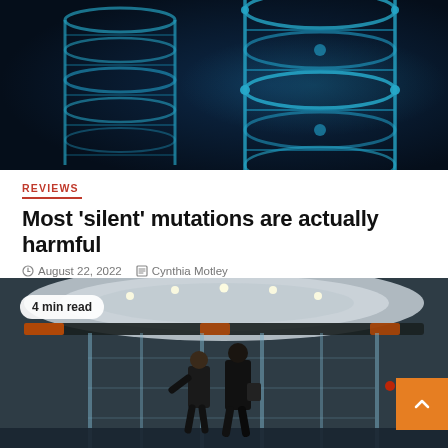[Figure (photo): Close-up of a glowing blue DNA double helix on a dark background]
REVIEWS
Most 'silent' mutations are actually harmful
August 22, 2022   Cynthia Motley
[Figure (photo): Two people standing at a glass revolving door in a modern building interior, with a '4 min read' badge overlaid]
4 min read